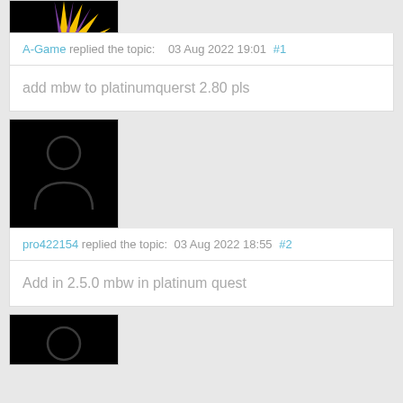[Figure (photo): Partial avatar image of A-Game user showing yellow/gold sunburst with purple stripes on black background, cropped at top]
A-Game replied the topic:    03 Aug 2022 19:01 #1
add mbw to platinumquerst 2.80 pls
[Figure (photo): Avatar image showing generic black silhouette of a person on black background]
pro422154 replied the topic:   03 Aug 2022 18:55 #2
Add in 2.5.0 mbw in platinum quest
[Figure (photo): Partial avatar image showing top portion of generic black person silhouette on black background, cropped at bottom]